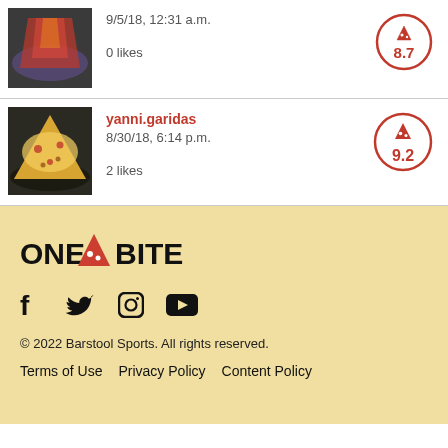[Figure (photo): Photo of pizza slices on a dark plate, partially visible at top]
9/5/18, 12:31 a.m.
0 likes
[Figure (other): Pizza score badge showing 8.7 in red circle with pizza icon]
[Figure (photo): Photo of pizza slice with cheese and toppings on dark background]
yanni.garidas
8/30/18, 6:14 p.m.
2 likes
[Figure (other): Pizza score badge showing 9.2 in red circle with pizza icon]
[Figure (logo): ONE BITE logo with red pizza slice icon between ONE and BITE]
Social media icons: Facebook, Twitter, Instagram, YouTube
© 2022 Barstool Sports. All rights reserved.
Terms of Use    Privacy Policy    Content Policy